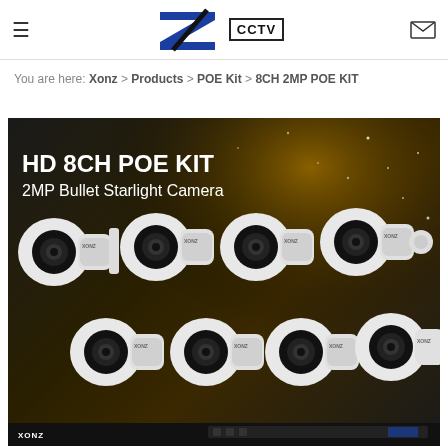≡  XCCTV  ✉
You are here: Xonz > Products > POE Kit > 8CH 2MP POE KIT
[Figure (photo): HD 8CH POE KIT 2MP Bullet Starlight Camera product image showing 8 white bullet cameras arranged in two rows on a dark golden background, with XONZ branding on cameras and NVR unit visible at bottom.]